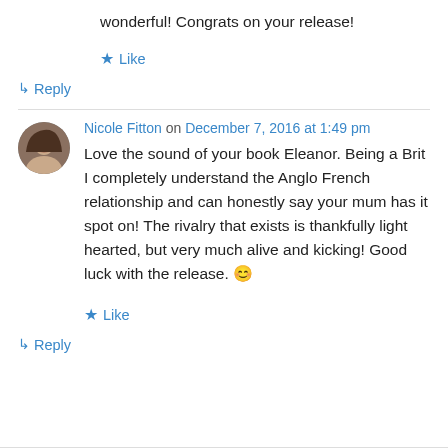wonderful! Congrats on your release!
★ Like
↳ Reply
Nicole Fitton on December 7, 2016 at 1:49 pm
Love the sound of your book Eleanor. Being a Brit I completely understand the Anglo French relationship and can honestly say your mum has it spot on! The rivalry that exists is thankfully light hearted, but very much alive and kicking! Good luck with the release. 😊
★ Like
↳ Reply